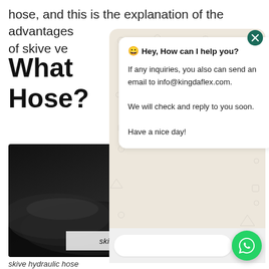hose, and this is the explanation of the advantages of skive ve
What Hose?
[Figure (photo): Close-up photo of a skive hydraulic hose, dark rubber, with label overlay reading 'skive hydraulic hose']
skive hydraulic hose
[Figure (screenshot): WhatsApp chat popup overlay with message: Hey, How can I help you? If any inquiries, you also can send an email to info@kingdaflex.com. We will check and reply to you soon. Have a nice day! With input bar and send button at bottom.]